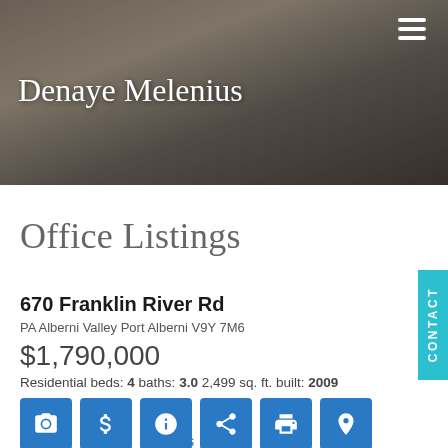Denaye Melenius
Office Listings
670 Franklin River Rd
PA Alberni Valley Port Alberni V9Y 7M6
$1,790,000
Residential beds: 4 baths: 3.0 2,499 sq. ft. built: 2009
[Figure (illustration): Row of 6 blue icon buttons: camera, dollar sign, info, share, print, location pin]
Details  Photos  Videos  Map